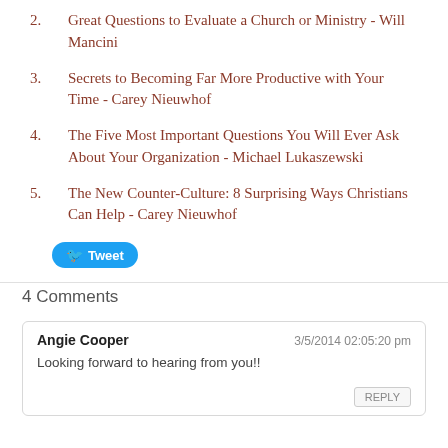2.    Great Questions to Evaluate a Church or Ministry - Will Mancini
3.    Secrets to Becoming Far More Productive with Your Time - Carey Nieuwhof
4.    The Five Most Important Questions You Will Ever Ask About Your Organization - Michael Lukaszewski
5.    The New Counter-Culture: 8 Surprising Ways Christians Can Help - Carey Nieuwhof
[Figure (other): Twitter Tweet button (blue rounded button with bird icon and 'Tweet' text)]
4 Comments
Angie Cooper    3/5/2014 02:05:20 pm
Looking forward to hearing from you!!